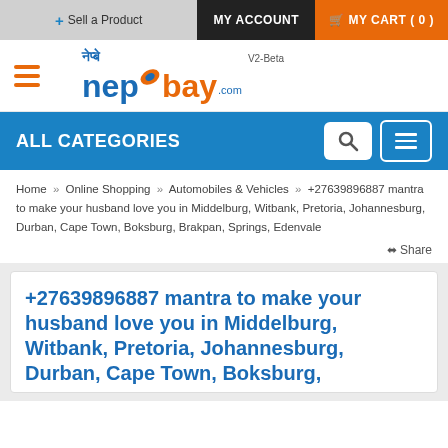+ Sell a Product   MY ACCOUNT   MY CART ( 0 )
[Figure (logo): Nepbay.com logo with Devanagari text and orange leaf icon, V2-Beta label]
ALL CATEGORIES
Home » Online Shopping » Automobiles & Vehicles » +27639896887 mantra to make your husband love you in Middelburg, Witbank, Pretoria, Johannesburg, Durban, Cape Town, Boksburg, Brakpan, Springs, Edenvale
Share
+27639896887 mantra to make your husband love you in Middelburg, Witbank, Pretoria, Johannesburg, Durban, Cape Town, Boksburg,